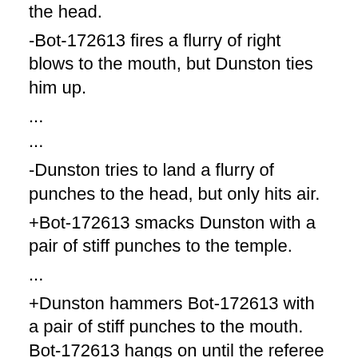the head.
-Bot-172613 fires a flurry of right blows to the mouth, but Dunston ties him up.
...
...
-Dunston tries to land a flurry of punches to the head, but only hits air.
+Bot-172613 smacks Dunston with a pair of stiff punches to the temple.
...
+Dunston hammers Bot-172613 with a pair of stiff punches to the mouth. Bot-172613 hangs on until the referee breaks them up.
...
...
-Bot-172613 tries to land a series of punches to the nose, but Dunston ties him up.
...
+Bot-172613 tosses a series of stinging punches to the